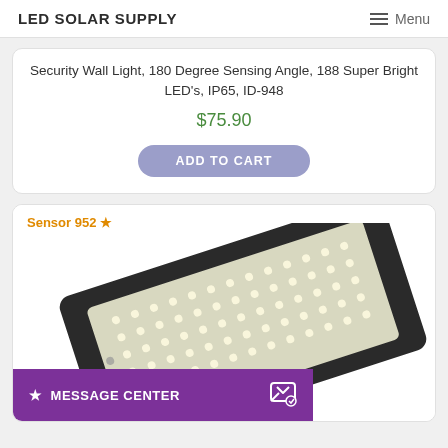LED SOLAR SUPPLY   Menu
Security Wall Light, 180 Degree Sensing Angle, 188 Super Bright LED's, IP65, ID-948
$75.90
ADD TO CART
Sensor 952 *
[Figure (photo): Solar LED security wall light panel showing array of LEDs in a rectangular dark housing, viewed at angle]
★ MESSAGE CENTER